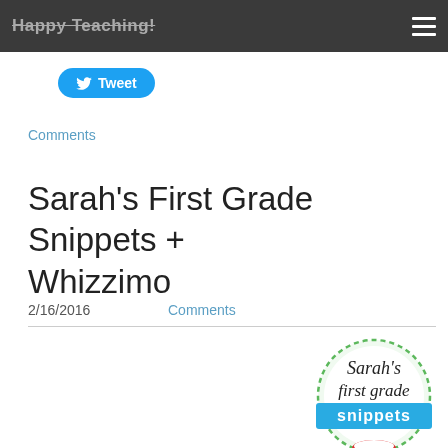Happy Teaching!
Tweet
Comments
Sarah's First Grade Snippets + Whizzimo
2/16/2016
Comments
[Figure (logo): Sarah's First Grade Snippets logo — circular with dashed green border, script text 'Sarah's first grade' in black, 'snippets' in white on a cyan/blue banner.]